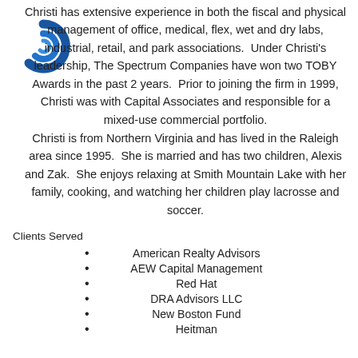[Figure (logo): Spiral blue logo icon for The Spectrum Companies]
Christi has extensive experience in both the fiscal and physical management of office, medical, flex, wet and dry labs, industrial, retail, and park associations. Under Christi's leadership, The Spectrum Companies have won two TOBY Awards in the past 2 years. Prior to joining the firm in 1999, Christi was with Capital Associates and responsible for a mixed-use commercial portfolio.
Christi is from Northern Virginia and has lived in the Raleigh area since 1995. She is married and has two children, Alexis and Zak. She enjoys relaxing at Smith Mountain Lake with her family, cooking, and watching her children play lacrosse and soccer.
Clients Served
American Realty Advisors
AEW Capital Management
Red Hat
DRA Advisors LLC
New Boston Fund
Heitman